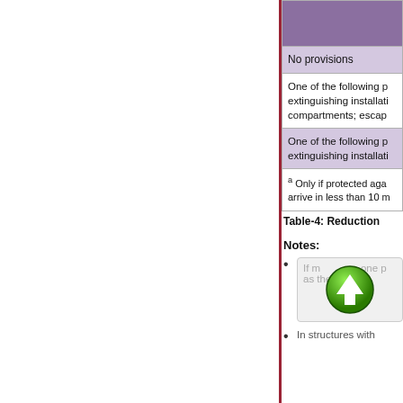|  |
| --- |
| No provisions |
| One of the following p... extinguishing installati... compartments; escap... |
| One of the following p... extinguishing installati... |
| a Only if protected aga... arrive in less than 10 m... |
Table-4: Reduction...
Notes:
If m... n one p... as th...est of th...
In structures with...